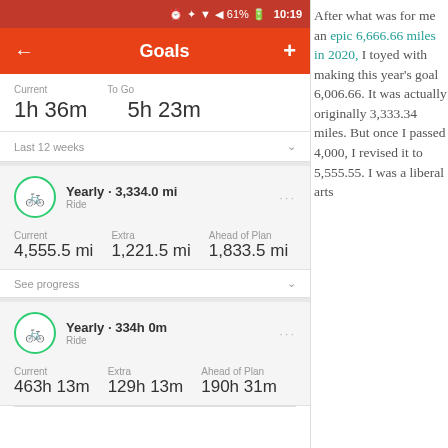[Figure (screenshot): Mobile app screenshot showing Goals screen with status bar, navigation bar with back arrow and Goals title, time stats (Current 1h 36m, To Go 5h 23m), Last 12 weeks section, two goal cards: Yearly 3,334.0 mi ride with stats 4,555.5 mi current / 1,221.5 mi extra / 1,833.5 mi ahead of plan, and Yearly 334h 0m ride with stats 463h 13m current / 129h 13m extra / 190h 31m ahead of plan]
After what was for me an epic 6,666.66 miles in 2020, I toyed with making this year's goal 6,006.66. It was actually originally 3,333.34 miles. But once I passed 4,000, I revised it to 5,555.55. I was a liberal arts